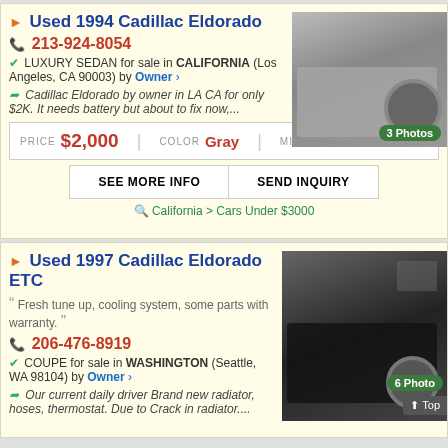Used 1994 Cadillac Eldorado
213-924-8054
LUXURY SEDAN for sale in CALIFORNIA (Los Angeles, CA 90003) by Owner
Cadillac Eldorado by owner in LA CA for only $2K. It needs battery but about to fix now,...
[Figure (photo): Photo of 1994 Cadillac Eldorado, gray, showing side/wheel]
PRICE $2,000  |  COLOR Gray  |  MILES Please Call
SEE MORE INFO  |  SEND INQUIRY
California > Cars Under $3000
Used 1997 Cadillac Eldorado ETC
Fresh tune up, cooling system, some parts with warranty.
206-476-8919
COUPE for sale in WASHINGTON (Seattle, WA 98104) by Owner
Our current daily driver Brand new radiator, hoses, thermostat. Due to Crack in radiator....
[Figure (photo): Photo of 1997 Cadillac Eldorado ETC, black coupe]